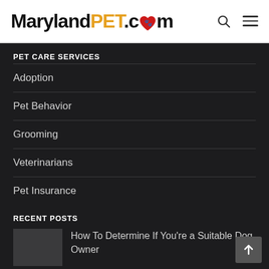MarylandPET.com
PET CARE SERVICES
Adoption
Pet Behavior
Grooming
Veterinarians
Pet Insurance
RECENT POSTS
How To Determine If You're a Suitable Dog Owner